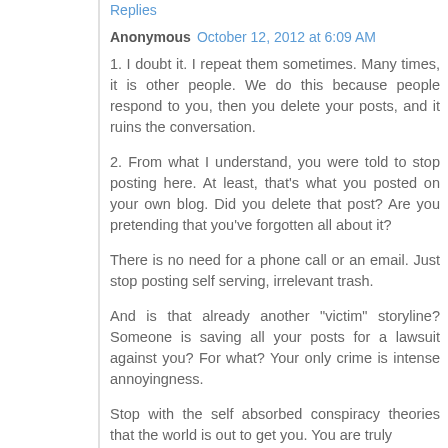Replies
Anonymous  October 12, 2012 at 6:09 AM
1. I doubt it. I repeat them sometimes. Many times, it is other people. We do this because people respond to you, then you delete your posts, and it ruins the conversation.
2. From what I understand, you were told to stop posting here. At least, that's what you posted on your own blog. Did you delete that post? Are you pretending that you've forgotten all about it?
There is no need for a phone call or an email. Just stop posting self serving, irrelevant trash.
And is that already another "victim" storyline? Someone is saving all your posts for a lawsuit against you? For what? Your only crime is intense annoyingness.
Stop with the self absorbed conspiracy theories that the world is out to get you. You are truly